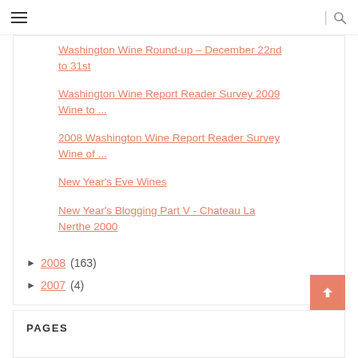≡ | 🔍
Washington Wine Round-up – December 22nd to 31st
Washington Wine Report Reader Survey 2009 Wine to ...
2008 Washington Wine Report Reader Survey Wine of ...
New Year's Eve Wines
New Year's Blogging Part V - Chateau La Nerthe 2000
► 2008 (163)
► 2007 (4)
PAGES